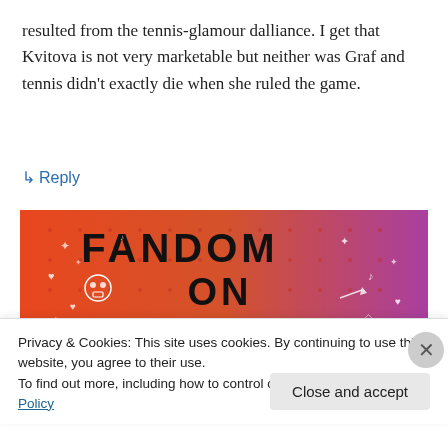resulted from the tennis-glamour dalliance. I get that Kvitova is not very marketable but neither was Graf and tennis didn't exactly die when she ruled the game.
↳ Reply
[Figure (illustration): Fandom on Tumblr banner image with colorful orange-to-purple gradient background, bold text reading FANDOM ON tumblr with decorative icons like skulls, hearts, arrows, music notes.]
Privacy & Cookies: This site uses cookies. By continuing to use this website, you agree to their use.
To find out more, including how to control cookies, see here: Cookie Policy